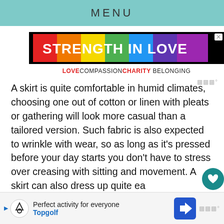MENU
[Figure (infographic): Rainbow colored banner ad reading 'STRENGTH IN LOVE' in white bold text on a multicolor gradient background, with a close X button. Below reads 'LOVE COMPASSION CHARITY BELONGING' with LOVE and CHARITY in red bold text.]
A skirt is quite comfortable in humid climates, choosing one out of cotton or linen with pleats or gathering will look more casual than a tailored version. Such fabric is also expected to wrinkle with wear, so as long as it's pressed before your day starts you don't have to stress over creasing with sitting and movement. A skirt can also dress up quite ea...
[Figure (infographic): Bottom advertisement banner for Topgolf: 'Perfect activity for everyone' with Topgolf logo and a blue navigation arrow icon.]